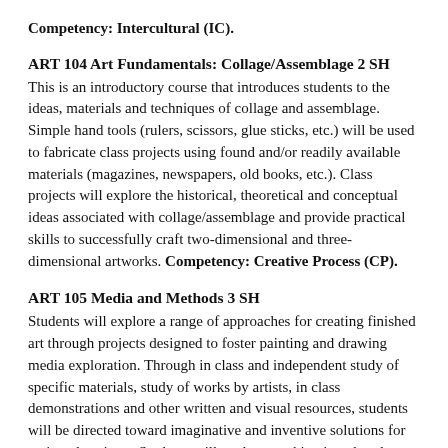Competency: Intercultural (IC).
ART 104 Art Fundamentals: Collage/Assemblage 2 SH
This is an introductory course that introduces students to the ideas, materials and techniques of collage and assemblage. Simple hand tools (rulers, scissors, glue sticks, etc.) will be used to fabricate class projects using found and/or readily available materials (magazines, newspapers, old books, etc.). Class projects will explore the historical, theoretical and conceptual ideas associated with collage/assemblage and provide practical skills to successfully craft two-dimensional and three-dimensional artworks. Competency: Creative Process (CP).
ART 105 Media and Methods 3 SH
Students will explore a range of approaches for creating finished art through projects designed to foster painting and drawing media exploration. Through in class and independent study of specific materials, study of works by artists, in class demonstrations and other written and visual resources, students will be directed toward imaginative and inventive solutions for assigned projects. Students will explore working in colored pencil, pastel, ink, watercolor, gouache and acrylic paints. Color usage, composition, and